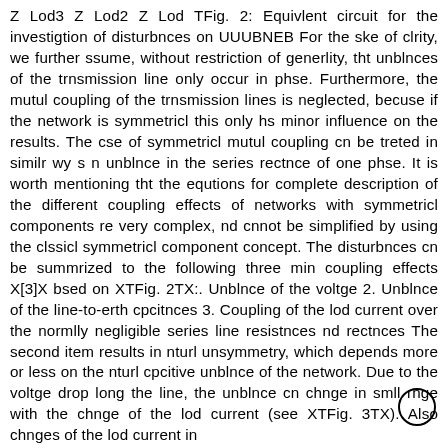Z Lod3 Z Lod2 Z Lod TFig. 2: Equivlent circuit for the investigtion of disturbnces on UUUBNEB For the ske of clrity, we further ssume, without restriction of generlity, tht unblnces of the trnsmission line only occur in phse. Furthermore, the mutul coupling of the trnsmission lines is neglected, becuse if the network is symmetricl this only hs minor influence on the results. The cse of symmetricl mutul coupling cn be treted in similr wy s n unblnce in the series rectnce of one phse. It is worth mentioning tht the equtions for complete description of the different coupling effects of networks with symmetricl components re very complex, nd cnnot be simplified by using the clssicl symmetricl component concept. The disturbnces cn be summrized to the following three min coupling effects X[3]X bsed on XTFig. 2TX:. Unblnce of the voltge 2. Unblnce of the line-to-erth cpcitnces 3. Coupling of the lod current over the normlly negligible series line resistnces nd rectnces The second item results in nturl unsymmetry, which depends more or less on the nturl cpcitive unblnce of the network. Due to the voltge drop long the line, the unblnce cn chnge in smll rnge with the chnge of the lod current (see XTFig. 3TX). Also chnges of the lod current in